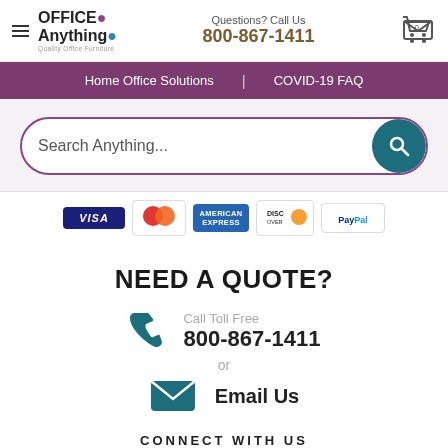Office Anything – Quality Office Furniture | Questions? Call Us 800-867-1411
[Figure (screenshot): Navigation bar with Home Office Solutions and COVID-19 FAQ links]
[Figure (screenshot): Search bar with placeholder 'Search Anything...' and teal search button]
[Figure (infographic): Payment method icons: VISA, MasterCard, American Express, Discover, PayPal]
NEED A QUOTE?
Call Toll Free
800-867-1411
or
Email Us
CONNECT WITH US